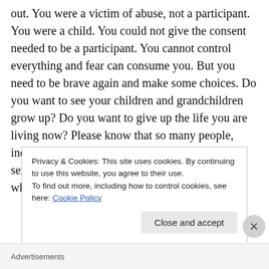out. You were a victim of abuse, not a participant. You were a child. You could not give the consent needed to be a participant. You cannot control everything and fear can consume you. But you need to be brave again and make some choices. Do you want to see your children and grandchildren grow up? Do you want to give up the life you are living now? Please know that so many people, including me, care for you so deeply and are sending positive energy to you. I will support whichever decision
Privacy & Cookies: This site uses cookies. By continuing to use this website, you agree to their use.
To find out more, including how to control cookies, see here: Cookie Policy
Close and accept
Advertisements